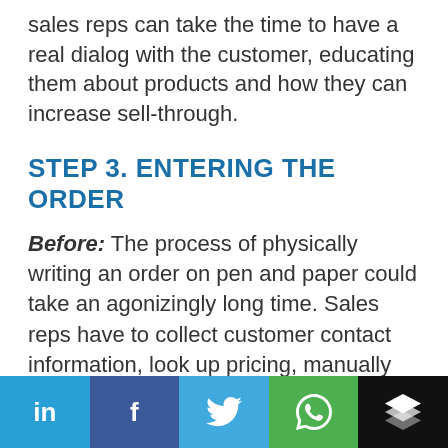sales reps can take the time to have a real dialog with the customer, educating them about products and how they can increase sell-through.
STEP 3. ENTERING THE ORDER
Before: The process of physically writing an order on pen and paper could take an agonizingly long time. Sales reps have to collect customer contact information, look up pricing, manually apply customer-specific discounts, and write a new line item for every